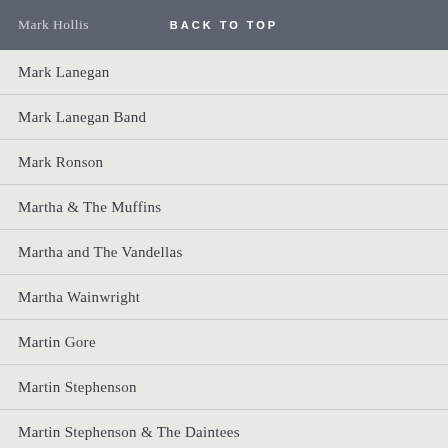Mark Hollis  BACK TO TOP
Mark Lanegan
Mark Lanegan Band
Mark Ronson
Martha & The Muffins
Martha and The Vandellas
Martha Wainwright
Martin Gore
Martin Stephenson
Martin Stephenson & The Daintees
Marvin Gaye
Massive Attack
Matt Berninger